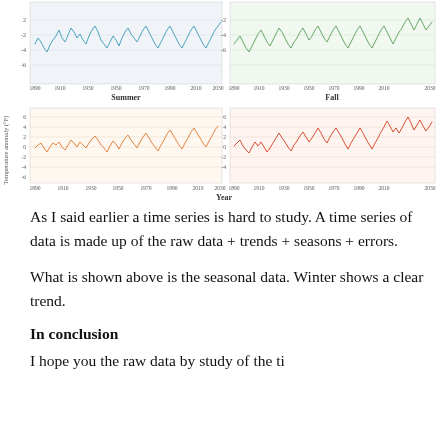[Figure (continuous-plot): Four seasonal temperature anomaly time series charts arranged in 2x2 grid. Top-left: Summer (blue/teal line, ~1890-2030, y-axis -6 to 2°F). Top-right: Fall (green line, ~1890-2030, y-axis -6 to 2°F). Bottom-left: Summer/Winter (orange line, ~1890-2030, y-axis -6 to 6°F). Bottom-right: Fall/Winter (orange/red line, ~1890-2030, y-axis -6 to 6°F). Y-axis label: Temperature anomaly (°F). X-axis label: Year.]
As I said earlier a time series is hard to study. A time series of data is made up of the raw data + trends + seasons + errors.
What is shown above is the seasonal data. Winter shows a clear trend.
In conclusion
I hope you the raw data by study of the ti...